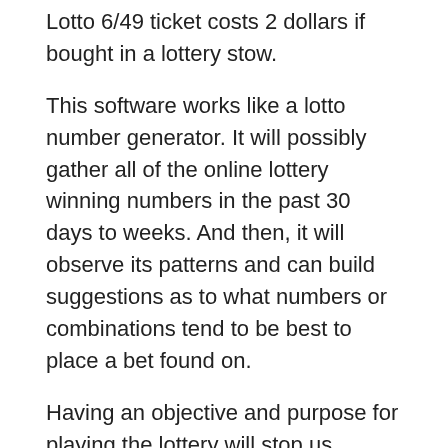Lotto 6/49 ticket costs 2 dollars if bought in a lottery stow.
This software works like a lotto number generator. It will possibly gather all of the online lottery winning numbers in the past 30 days to weeks. And then, it will observe its patterns and can build suggestions as to what numbers or combinations tend to be best to place a bet found on.
Having an objective and purpose for playing the lottery will stop us motivated. Money is only a way to a finish. What is aim of winning the lottery for someone? What would you use your lottery wins? Visualise and verbalise the upshot of your captures. Make it vivid. Believe firmly in it, and be specific in regard to the goal you determine. A well-constructed goal keeps you going and pulls you thru to the winning gaming programs.